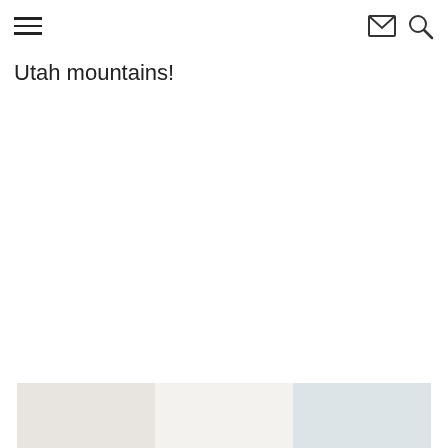☰ [menu icon] [email icon] [search icon]
Utah mountains!
[Figure (photo): Partial view of a light-toned interior or outdoor photo visible at the bottom of the page]